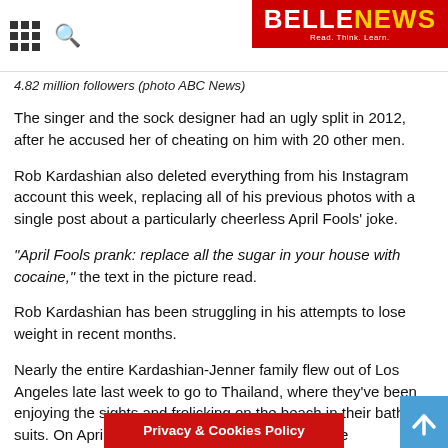BELLENEWS - Read. Think. Learn.
4.82 million followers (photo ABC News)
The singer and the sock designer had an ugly split in 2012, after he accused her of cheating on him with 20 other men.
Rob Kardashian also deleted everything from his Instagram account this week, replacing all of his previous photos with a single post about a particularly cheerless April Fools' joke.
"April Fools prank: replace all the sugar in your house with cocaine," the text in the picture read.
Rob Kardashian has been struggling in his attempts to lose weight in recent months.
Nearly the entire Kardashian-Jenner family flew out of Los Angeles late last week to go to Thailand, where they've been enjoying the sights and frolicking on the beach in their bathing suits. On April 2, Kris Jenner posted a photo of the p... agging all of